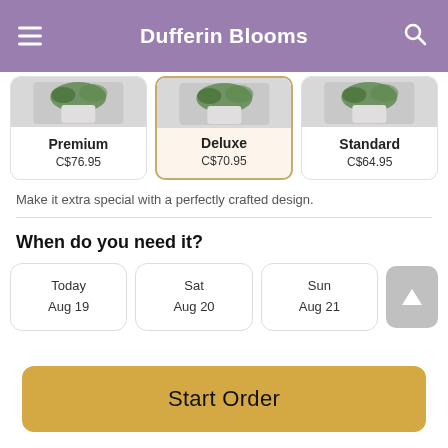Dufferin Blooms
[Figure (screenshot): Three product option cards: Premium C$76.95, Deluxe C$70.95 (selected/highlighted), Standard C$64.95, each showing a floral arrangement photo]
Make it extra special with a perfectly crafted design.
When do you need it?
Today Aug 19 | Sat Aug 20 | Sun Aug 21
Start Order